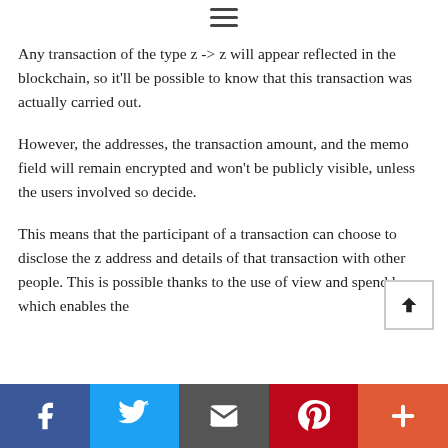Any transaction of the type z -> z will appear reflected in the blockchain, so it'll be possible to know that this transaction was actually carried out.
However, the addresses, the transaction amount, and the memo field will remain encrypted and won't be publicly visible, unless the users involved so decide.
This means that the participant of a transaction can choose to disclose the z address and details of that transaction with other people. This is possible thanks to the use of view and spend keys, which enables the